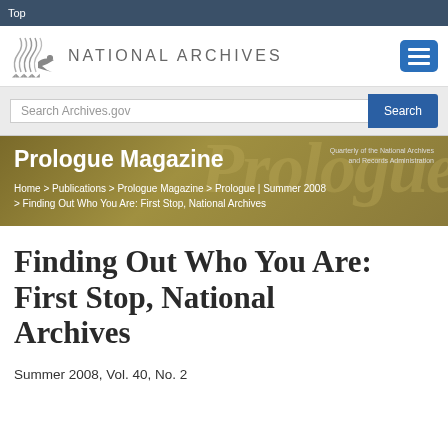Top
[Figure (logo): National Archives logo with wave graphic and text NATIONAL ARCHIVES]
Search Archives.gov
Prologue Magazine
Quarterly of the National Archives and Records Administration
Home > Publications > Prologue Magazine > Prologue | Summer 2008 > Finding Out Who You Are: First Stop, National Archives
Finding Out Who You Are: First Stop, National Archives
Summer 2008, Vol. 40, No. 2